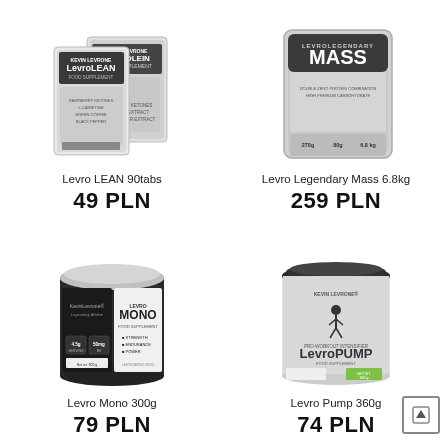[Figure (photo): Levro LEAN 90tabs supplement product photo - two packages of LevroLEAN]
Levro LEAN 90tabs
49 PLN
[Figure (photo): Levro Legendary Mass 6.8kg supplement product photo - large bag of LevroLegendary Mass]
Levro Legendary Mass 6.8kg
259 PLN
[Figure (photo): Levro Mono 300g supplement product photo - black container of Levro Mono creatine monohydrate]
Levro Mono 300g
79 PLN
[Figure (photo): Levro Pump 360g supplement product photo - silver/green container of LevroPump pre-workout]
Levro Pump 360g
74 PLN